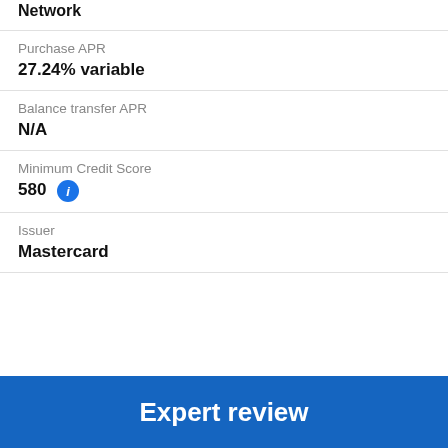Network
Purchase APR
27.24% variable
Balance transfer APR
N/A
Minimum Credit Score
580
Issuer
Mastercard
Expert review